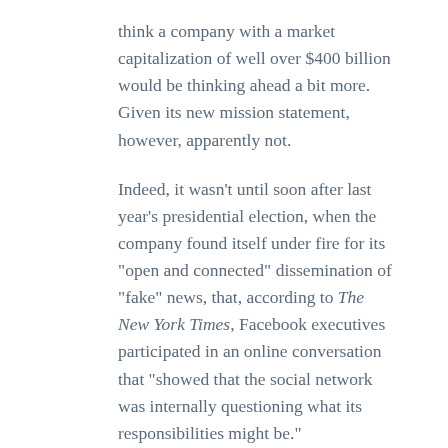think a company with a market capitalization of well over $400 billion would be thinking ahead a bit more. Given its new mission statement, however, apparently not.
Indeed, it wasn't until soon after last year's presidential election, when the company found itself under fire for its “open and connected” dissemination of “fake” news, that, according to The New York Times, Facebook executives participated in an online conversation that “showed that the social network was internally questioning what its responsibilities might be.”
That was then followed by